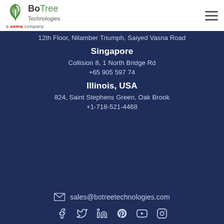[Figure (logo): BoTree Technologies logo with tree icon and 'a antra company' tagline]
12th Floor, Nilamber Triumph, Saiyed Vasna Road
Singapore
Collision 8, 1 North Bridge Rd
+65 905 597 74
Illinois, USA
824, Saint Stephens Green, Oak Brook
+1-718-521-4468
sales@botreetechnologies.com
[Figure (other): Social media icons: Facebook, Twitter, LinkedIn, Pinterest, YouTube, Instagram]